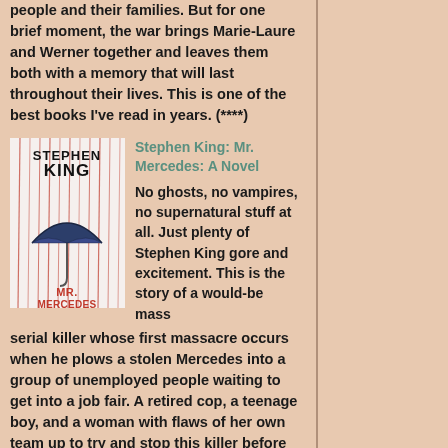people and their families. But for one brief moment, the war brings Marie-Laure and Werner together and leaves them both with a memory that will last throughout their lives. This is one of the best books I've read in years. (****)
[Figure (illustration): Book cover of 'Mr. Mercedes' by Stephen King. White background with red rain streaks, a dark umbrella in the center, and bold text. 'STEPHEN KING' in black at top, 'MR. MERCEDES' in red at bottom.]
Stephen King: Mr. Mercedes: A Novel
No ghosts, no vampires, no supernatural stuff at all. Just plenty of Stephen King gore and excitement. This is the story of a would-be mass serial killer whose first massacre occurs when he plows a stolen Mercedes into a group of unemployed people waiting to get into a job fair. A retired cop, a teenage boy, and a woman with flaws of her own team up to try and stop this killer before he can perpetrate an even more horrific slaughter. A good read, but not particularly memorable. (***)